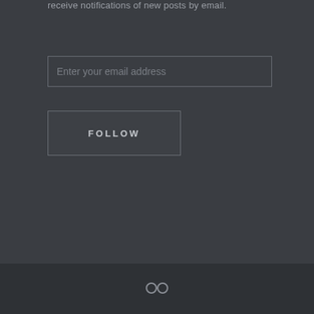receive notifications of new posts by email.
Enter your email address
FOLLOW
Search ...
[Figure (illustration): Social media share/link icon consisting of two connected circles, rendered in light gray on dark background]